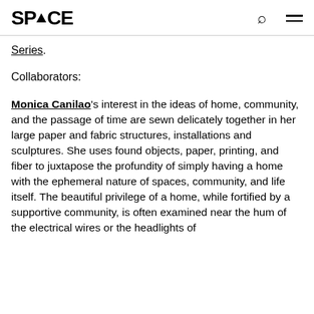SP▲CE
Series.
Collaborators:
Monica Canilao's interest in the ideas of home, community, and the passage of time are sewn delicately together in her large paper and fabric structures, installations and sculptures. She uses found objects, paper, printing, and fiber to juxtapose the profundity of simply having a home with the ephemeral nature of spaces, community, and life itself. The beautiful privilege of a home, while fortified by a supportive community, is often examined near the hum of the electrical wires or the headlights of